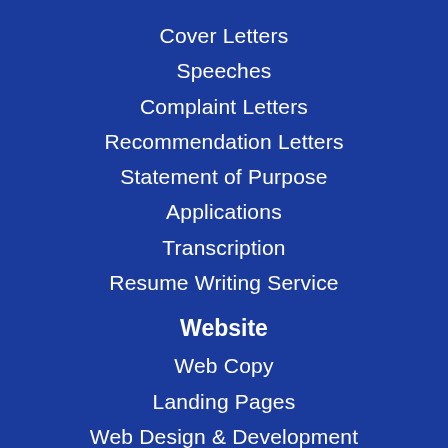Cover Letters
Speeches
Complaint Letters
Recommendation Letters
Statement of Purpose
Applications
Transcription
Resume Writing Service
Website
Web Copy
Landing Pages
Web Design & Development
Digital Solutions